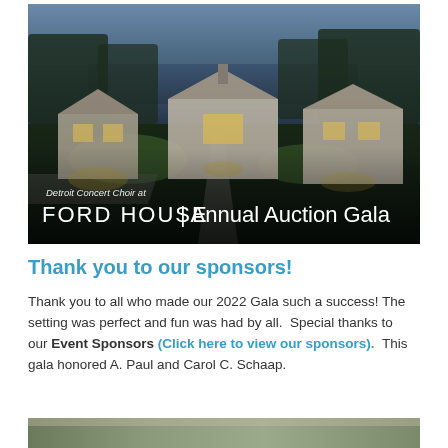[Figure (photo): Aerial dusk/evening photo of Ford House estate with illuminated grounds, multiple buildings, lake in background, trees. Overlay text reads 'Detroit Concert Choir at FORD HOUSE | Annual Auction Gala'.]
Thank you to our sponsors!
Thank you to all who made our 2022 Gala such a success! The setting was perfect and fun was had by all.  Special thanks to our Event Sponsors (Click here to view our sponsors).  This gala honored A. Paul and Carol C. Schaap.
[Figure (photo): Partial photo at bottom of page, cropped, showing outdoor scene.]